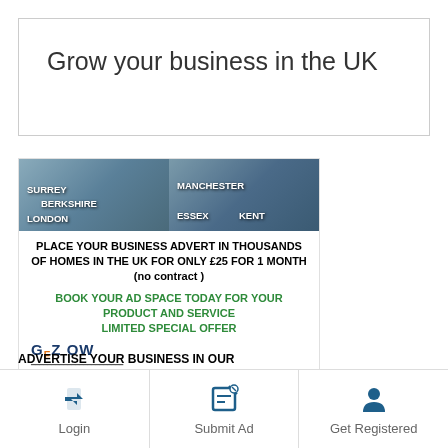Grow your business in the UK
[Figure (infographic): Advertisement for Gezow local business advertising service. Shows UK locations (Surrey, Berkshire, London, Manchester, Essex, Kent) with property photos. Text: PLACE YOUR BUSINESS ADVERT IN THOUSANDS OF HOMES IN THE UK FOR ONLY £25 FOR 1 MONTH (no contract). BOOK YOUR AD SPACE TODAY FOR YOUR PRODUCT AND SERVICE LIMITED SPECIAL OFFER. Gezow logo, local area reach info, call 07402/07825, PLACE YOUR ADVERT IN OUR PAPER, Gezow News 27 pages.]
ADVERTISE YOUR BUSINESS IN OUR
Login
Submit Ad
Get Registered